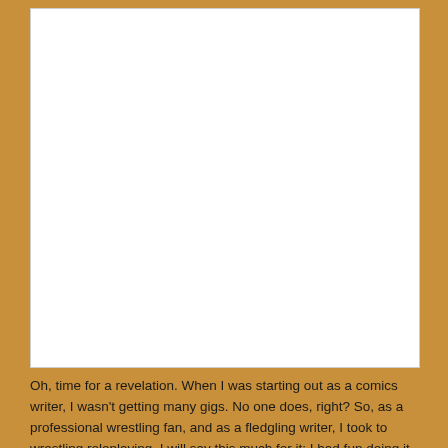[Figure (other): Large white blank rectangular card/panel area on an orange-brown background, representing an image placeholder.]
Oh, time for a revelation. When I was starting out as a comics writer, I wasn't getting many gigs. No one does, right? So, as a professional wrestling fan, and as a fledgling writer, I took to wrestling roleplaying. I will say this much for it: I had fun doing it. More on that later.